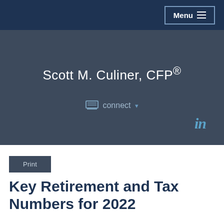Menu
Scott M. Culiner, CFP®
connect
in
Print
Key Retirement and Tax Numbers for 2022